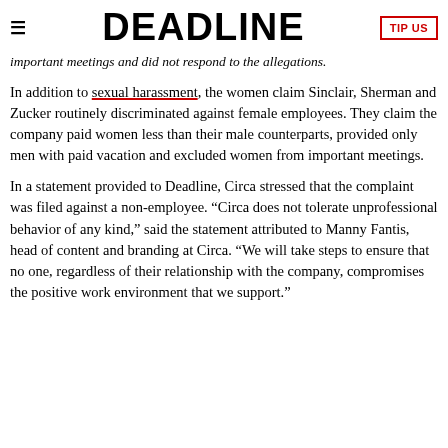≡  DEADLINE  TIP US
important meetings and did not respond to the allegations.
In addition to sexual harassment, the women claim Sinclair, Sherman and Zucker routinely discriminated against female employees. They claim the company paid women less than their male counterparts, provided only men with paid vacation and excluded women from important meetings.
In a statement provided to Deadline, Circa stressed that the complaint was filed against a non-employee. “Cirta does not tolerate unprofessional behavior of any kind,” said the statement attributed to Manny Fantis, head of content and branding at Circa. “We will take steps to ensure that no one, regardless of their relationship with the company, compromises the positive work environment that we support.”